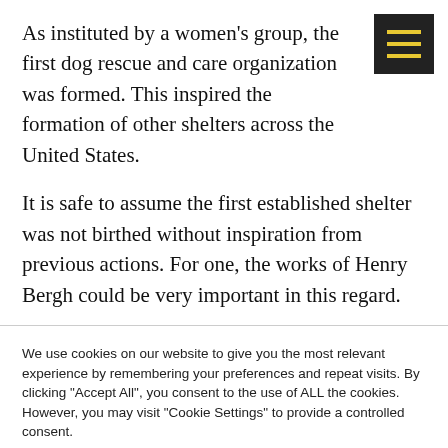As instituted by a women's group, the first dog rescue and care organization was formed. This inspired the formation of other shelters across the United States.
It is safe to assume the first established shelter was not birthed without inspiration from previous actions. For one, the works of Henry Bergh could be very important in this regard.
We use cookies on our website to give you the most relevant experience by remembering your preferences and repeat visits. By clicking "Accept All", you consent to the use of ALL the cookies. However, you may visit "Cookie Settings" to provide a controlled consent.